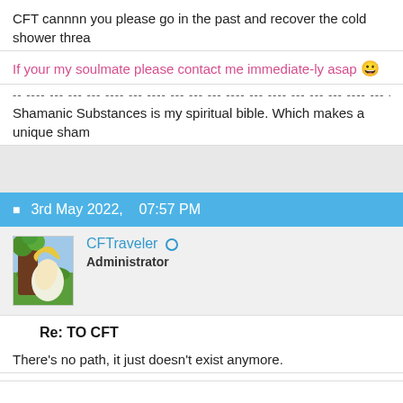CFT cannnn you please go in the past and recover the cold shower threa
If your my soulmate please contact me immediate-ly asap 😀
-- ---- --- --- --- ---- --- ---- --- --- --- ---- --- ---- --- --- --- ---- --- ---- --- --- ---
Shamanic Substances is my spiritual bible. Which makes a unique sham
3rd May 2022,    07:57 PM
CFTraveler ○ Administrator
Re: TO CFT
There's no path, it just doesn't exist anymore.